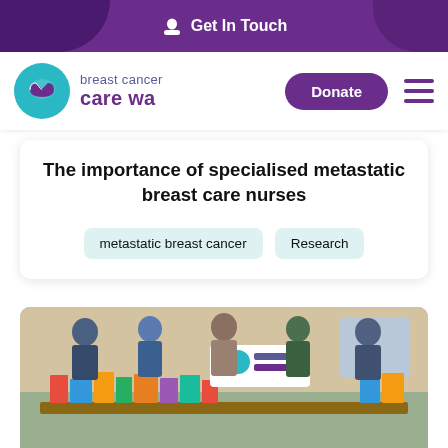Get In Touch
[Figure (logo): Breast Cancer Care WA logo with teal circle containing bra icon and purple/teal text]
The importance of specialised metastatic breast care nurses
metastatic breast cancer
Research
[Figure (photo): Five people standing behind a table covered in books and resources, holding a Breast Cancer Care WA sign]